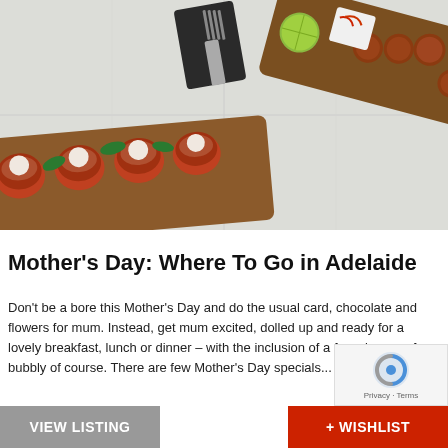[Figure (photo): Overhead view of restaurant food on wooden serving boards — stuffed tomatoes with ricotta and basil on the left board, spiced meatballs with lime and chili on the right board, wine bottle and fork/napkin in background, white tablecloth setting]
Mother's Day: Where To Go in Adelaide
Don't be a bore this Mother's Day and do the usual card, chocolate and flowers for mum. Instead, get mum excited, dolled up and ready for a lovely breakfast, lunch or dinner – with the inclusion of a few glasses of bubbly of course. There are few Mother's Day specials...
VIEW LISTING
+ WISHLIST